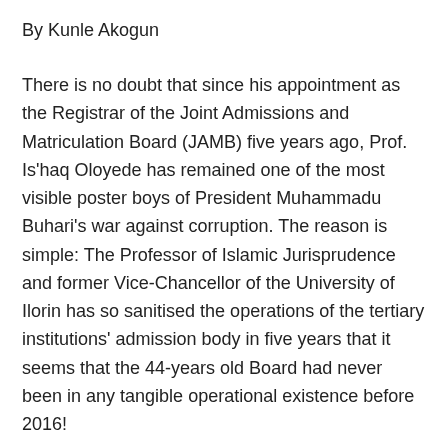By Kunle Akogun
There is no doubt that since his appointment as the Registrar of the Joint Admissions and Matriculation Board (JAMB) five years ago, Prof. Is'haq Oloyede has remained one of the most visible poster boys of President Muhammadu Buhari's war against corruption. The reason is simple: The Professor of Islamic Jurisprudence and former Vice-Chancellor of the University of Ilorin has so sanitised the operations of the tertiary institutions' admission body in five years that it seems that the 44-years old Board had never been in any tangible operational existence before 2016!
For this singular reason, his reappointment for another term of five years, announced on Friday, 20th August, did not really come as a surprise to many watchers of the great revolution going on in JAMB since August 1, 2016. Indeed, when his first tenure ended on July 21st, 2021, not a few